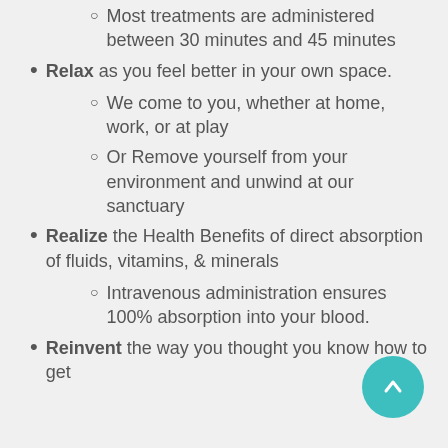Most treatments are administered between 30 minutes and 45 minutes
Relax as you feel better in your own space.
We come to you, whether at home, work, or at play
Or Remove yourself from your environment and unwind at our sanctuary
Realize the Health Benefits of direct absorption of fluids, vitamins, & minerals
Intravenous administration ensures 100% absorption into your blood.
Reinvent the way you thought you know how to get